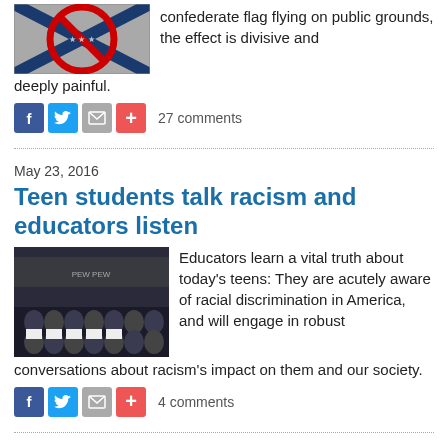[Figure (photo): Confederate flag with a red circle-slash symbol over it]
confederate flag flying on public grounds, the effect is divisive and deeply painful.
[Figure (infographic): Social sharing icons: Facebook, Twitter, Email, Plus]
27 comments
May 23, 2016
Teen students talk racism and educators listen
[Figure (photo): Group of teen students in an auditorium holding signs]
Educators learn a vital truth about today's teens: They are acutely aware of racial discrimination in America, and will engage in robust conversations about racism's impact on them and our society.
[Figure (infographic): Social sharing icons: Facebook, Twitter, Email, Plus]
4 comments
January 20, 2016
Willa Johnson Cofield: Still undaunted, still